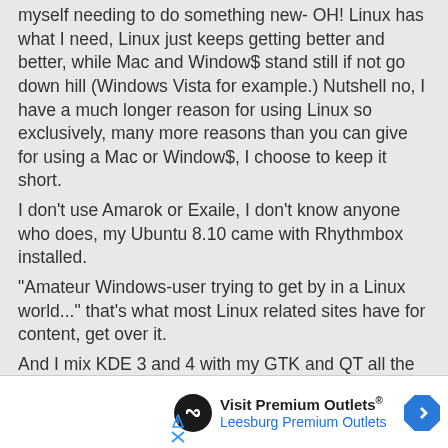myself needing to do something new- OH! Linux has what I need, Linux just keeps getting better and better, while Mac and Window$ stand still if not go down hill (Windows Vista for example.) Nutshell no, I have a much longer reason for using Linux so exclusively, many more reasons than you can give for using a Mac or Window$, I choose to keep it short.
I don't use Amarok or Exaile, I don't know anyone who does, my Ubuntu 8.10 came with Rhythmbox installed.
"Amateur Windows-user trying to get by in a Linux world..." that's what most Linux related sites have for content, get over it.
And I mix KDE 3 and 4 with my GTK and QT all the time, no problems, another example of idiotic Window$ users thinking they know it about Linux, when you just rush through it and end up not doing it
[Figure (infographic): Advertisement for Visit Premium Outlets - Leesburg Premium Outlets with a black circular logo with infinity-like symbol and a blue diamond arrow icon]